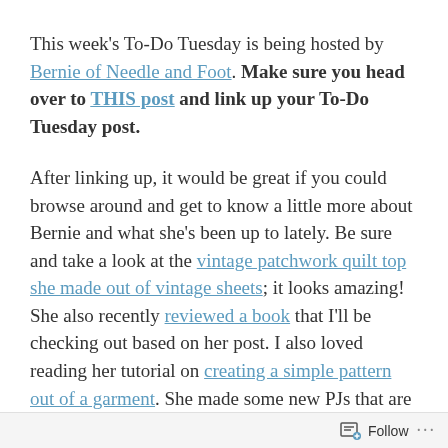This week's To-Do Tuesday is being hosted by Bernie of Needle and Foot. Make sure you head over to THIS post and link up your To-Do Tuesday post.
After linking up, it would be great if you could browse around and get to know a little more about Bernie and what she's been up to lately. Be sure and take a look at the vintage patchwork quilt top she made out of vintage sheets; it looks amazing! She also recently reviewed a book that I'll be checking out based on her post. I also loved reading her tutorial on creating a simple pattern out of a garment. She made some new PJs that are completely adorable and this is definitely a post I will be saving for future reference!
Follow